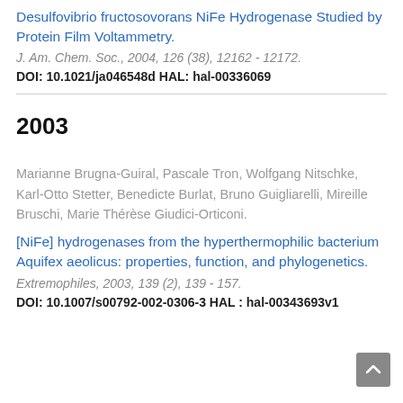Desulfovibrio fructosovorans NiFe Hydrogenase Studied by Protein Film Voltammetry.
J. Am. Chem. Soc., 2004, 126 (38), 12162 - 12172.
DOI: 10.1021/ja046548d HAL: hal-00336069
2003
Marianne Brugna-Guiral, Pascale Tron, Wolfgang Nitschke, Karl-Otto Stetter, Benedicte Burlat, Bruno Guigliarelli, Mireille Bruschi, Marie Thérèse Giudici-Orticoni.
[NiFe] hydrogenases from the hyperthermophilic bacterium Aquifex aeolicus: properties, function, and phylogenetics.
Extremophiles, 2003, 139 (2), 139 - 157.
DOI: 10.1007/s00792-002-0306-3 HAL: hal-00343693v1